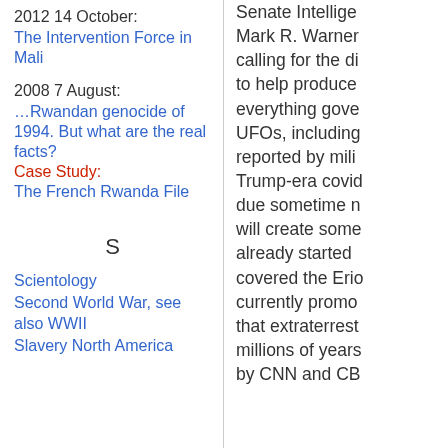2012 14 October: The Intervention Force in Mali
2008 7 August: …Rwandan genocide of 1994. But what are the real facts? Case Study: The French Rwanda File
S
Scientology
Second World War, see also WWII
Slavery North America
Senate Intelige Mark R. Warner calling for the di to help produce everything gove UFOs, including reported by mili Trump-era covid due sometime n will create some already started covered the Erio currently promo that extraterrest millions of years by CNN and CB